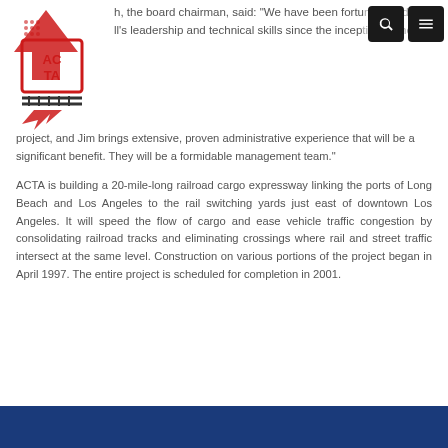ACTA logo and navigation header
h, the board chairman, said: "We have been fortunate to d ll's leadership and technical skills since the inception of the project, and Jim brings extensive, proven administrative experience that will be a significant benefit. They will be a formidable management team."
ACTA is building a 20-mile-long railroad cargo expressway linking the ports of Long Beach and Los Angeles to the rail switching yards just east of downtown Los Angeles. It will speed the flow of cargo and ease vehicle traffic congestion by consolidating railroad tracks and eliminating crossings where rail and street traffic intersect at the same level. Construction on various portions of the project began in April 1997. The entire project is scheduled for completion in 2001.